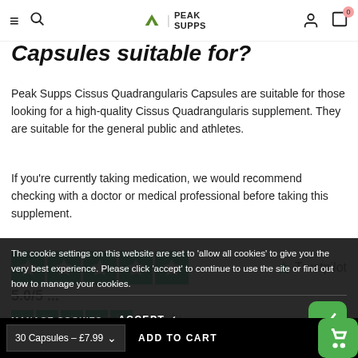Peak Supps — navigation header
Capsules suitable for?
Peak Supps Cissus Quadrangularis Capsules are suitable for those looking for a high-quality Cissus Quadrangularis supplement. They are suitable for the general public and athletes.
If you're currently taking medication, we would recommend checking with a doctor or medical professional before taking this supplement.
[Figure (logo): Trustpilot 5-star rating display with green star icons and Trustpilot logo]
The cookie settings on this website are set to 'allow all cookies' to give you the very best experience. Please click 'accept' to continue to use the site or find out how to manage your cookies.
MANAGE COOKIES   ACCEPT ✓
[Figure (logo): Second Trustpilot review stars row]
Kathy Zablotzky, Au...
Very happy with the product and service
30 Capsules - £7.99  ADD TO CART